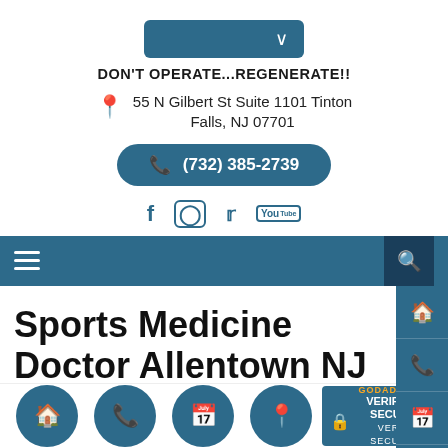[Figure (screenshot): Dropdown button (teal/blue rounded rectangle with chevron icon)]
DON'T OPERATE...REGENERATE!!
55 N Gilbert St Suite 1101 Tinton Falls, NJ 07701
(732) 385-2739
[Figure (screenshot): Social media icons: Facebook, Instagram, Twitter, YouTube in teal]
[Figure (screenshot): Navigation bar with hamburger menu and search icon, teal background]
[Figure (screenshot): Sidebar with home, phone, calendar, and location icons]
Sports Medicine Doctor Allentown NJ
[Figure (screenshot): Bottom bar with teal circular icon buttons (home, phone, calendar, location) and GoDaddy Verified & Secured badge]